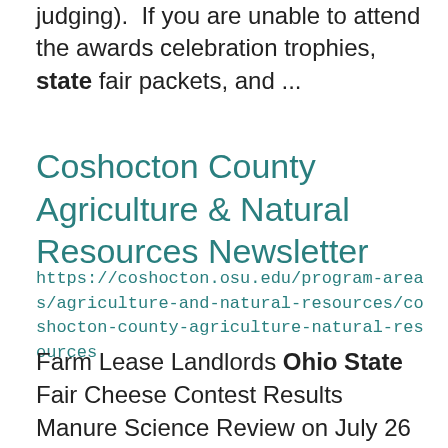judging). If you are unable to attend the awards celebration trophies, state fair packets, and ...
Coshocton County Agriculture & Natural Resources Newsletter
https://coshocton.osu.edu/program-areas/agriculture-and-natural-resources/coshocton-county-agriculture-natural-resources
Farm Lease Landlords Ohio State Fair Cheese Contest Results Manure Science Review on July 26 July 13, ... Testing Date in Coshocton County Slated for March 17 OSU Extension to Host 2022 East Ohio Women in ... OSU Extension to Host 2022